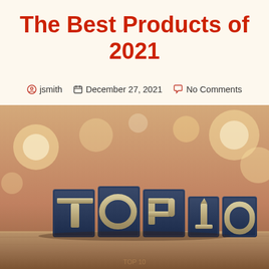The Best Products of 2021
jsmith   December 27, 2021   No Comments
[Figure (photo): Letterpress wooden blocks spelling 'TOP 10' arranged on a wooden surface with bokeh light background]